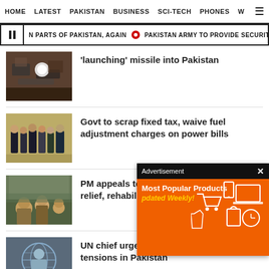HOME  LATEST  PAKISTAN  BUSINESS  SCI-TECH  PHONES  W
N PARTS OF PAKISTAN, AGAIN  •  PAKISTAN ARMY TO PROVIDE SECURITY FOR FIFA W
[Figure (photo): Debris/wreckage image]
‘launching’ missile into Pakistan
[Figure (photo): Group meeting photo with officials in formal attire]
Govt to scrap fixed tax, waive fuel adjustment charges on power bills
[Figure (photo): Flood relief scene with people in distress]
PM appeals to relief, rehabilit
[Figure (other): Advertisement overlay: Most Popular Products – Updated Weekly! with shopping icons on orange background]
[Figure (photo): UN official at podium with UN logo background]
UN chief urges de-escalation of political tensions in Pakistan